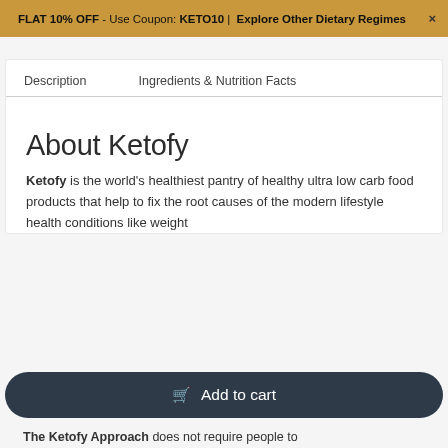FLAT 10% OFF - Use Coupon: KETO10 | Explore Other Dietary Regimes ×
Description    Ingredients & Nutrition Facts
About Ketofy
Ketofy is the world's healthiest pantry of healthy ultra low carb food products that help to fix the root causes of the modern lifestyle health conditions like weight
Add to cart
The Ketofy Approach does not require people to